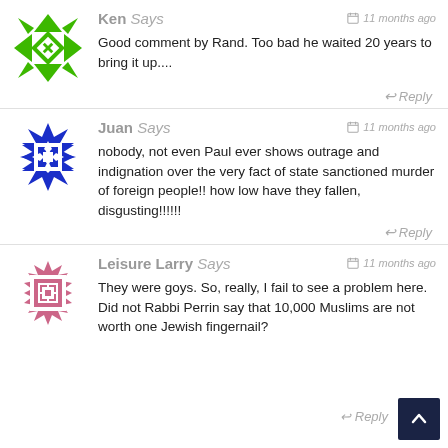[Figure (illustration): Green geometric quilt-pattern avatar for user Ken]
Ken Says  —  11 months ago
Good comment by Rand. Too bad he waited 20 years to bring it up....
Reply
[Figure (illustration): Blue geometric quilt-pattern avatar for user Juan]
Juan Says  —  11 months ago
nobody, not even Paul ever shows outrage and indignation over the very fact of state sanctioned murder of foreign people!! how low have they fallen, disgusting!!!!!!
Reply
[Figure (illustration): Pink/rose geometric quilt-pattern avatar for user Leisure Larry]
Leisure Larry Says  —  11 months ago
They were goys. So, really, I fail to see a problem here. Did not Rabbi Perrin say that 10,000 Muslims are not worth one Jewish fingernail?